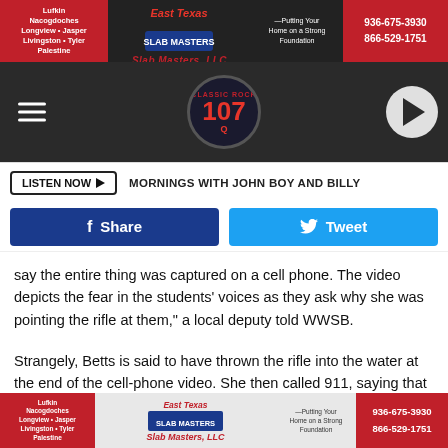[Figure (other): East Texas Slab Masters LLC advertisement banner - red background with company name, logo, phone numbers 936-675-3930 and 866-529-1751]
[Figure (other): Classic Rock 107.1 radio station navigation bar with hamburger menu, circular logo, and play button]
LISTEN NOW ▶  MORNINGS WITH JOHN BOY AND BILLY
f Share   Tweet
say the entire thing was captured on a cell phone. The video depicts the fear in the students' voices as they ask why she was pointing the rifle at them," a local deputy told WWSB.
Strangely, Betts is said to have thrown the rifle into the water at the end of the cell-phone video. She then called 911, saying that "the crew from Sarasota High School have destroyed her life and she has had it," according to WWSB.
[Figure (other): East Texas Slab Masters LLC advertisement banner bottom - same as top banner with phone numbers 936-675-3930 and 866-529-1751]